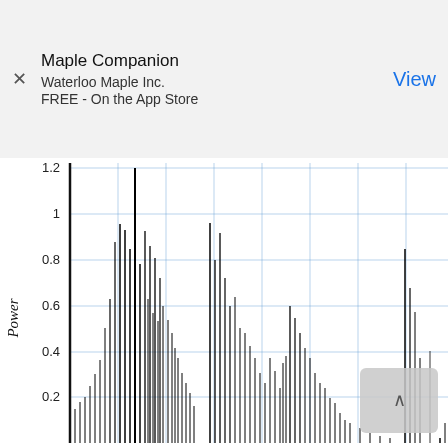[Figure (screenshot): App Store advertisement banner for Maple Companion by Waterloo Maple Inc., FREE on the App Store, with a View button]
[Figure (continuous-plot): Power spectrum plot showing vertical black spikes of varying heights against a grid. Y-axis labeled 'Power' with values 0.2, 0.4, 0.6, 0.8, 1, 1.2 visible. Dense cluster of high spikes on the left tapering to sparser spikes toward the right.]